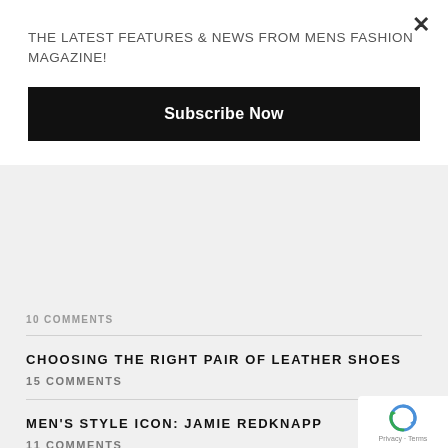THE LATEST FEATURES & NEWS FROM MENS FASHION MAGAZINE!
Subscribe Now
10 COMMENTS
CHOOSING THE RIGHT PAIR OF LEATHER SHOES
15 COMMENTS
MEN'S STYLE ICON: JAMIE REDKNAPP
11 COMMENTS
WARDROBE ESSENTIALS: THE POLO SHIRT
9 COMMENTS